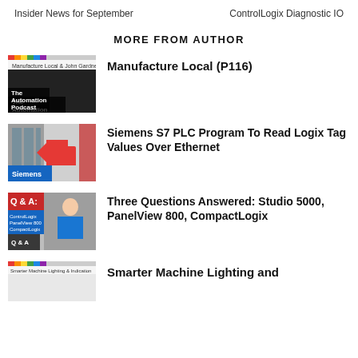Insider News for September    ControlLogix Diagnostic IO
MORE FROM AUTHOR
[Figure (screenshot): Thumbnail for The Automation Podcast - Manufacture Local episode]
Manufacture Local (P116)
[Figure (screenshot): Thumbnail for Siemens S7 PLC Program episode with red arrow and Siemens label]
Siemens S7 PLC Program To Read Logix Tag Values Over Ethernet
[Figure (screenshot): Thumbnail for Q&A video with Studio 5000, PanelView 800, CompactLogix]
Three Questions Answered: Studio 5000, PanelView 800, CompactLogix
[Figure (screenshot): Thumbnail for Smarter Machine Lighting and Indication episode]
Smarter Machine Lighting and